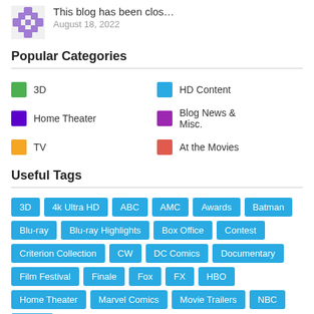This blog has been clos…
August 18, 2022
Popular Categories
3D
HD Content
Home Theater
Blog News & Misc.
TV
At the Movies
Useful Tags
3D
4k Ultra HD
ABC
AMC
Awards
Batman
Blu-ray
Blu-ray Highlights
Box Office
Contest
Criterion Collection
CW
DC Comics
Documentary
Film Festival
Finale
Fox
FX
HBO
Home Theater
Marvel Comics
Movie Trailers
NBC
Netflix